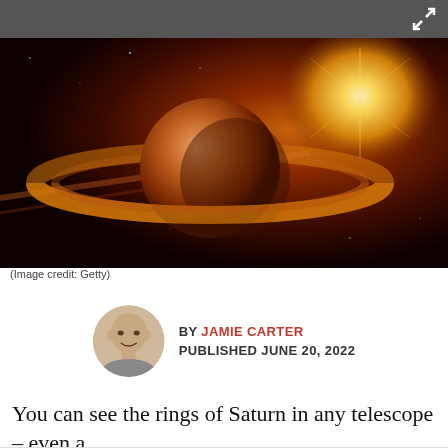[Figure (illustration): Artistic illustration of Saturn-like planet with rings in space, illuminated by a bright orange/golden star or sun, with dark space background filled with stars. Warm orange and golden hues dominate.]
(Image credit: Getty)
BY JAMIE CARTER
PUBLISHED JUNE 20, 2022
You can see the rings of Saturn in any telescope – even a